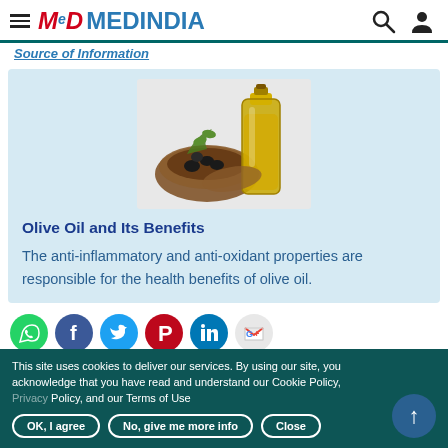MEDINDIA
Source of Information
[Figure (photo): A bottle of olive oil and a wooden bowl with black olives and olive branch]
Olive Oil and Its Benefits
The anti-inflammatory and anti-oxidant properties are responsible for the health benefits of olive oil.
[Figure (infographic): Social media share buttons: WhatsApp, Facebook, Twitter, Pinterest, LinkedIn, Google]
This site uses cookies to deliver our services. By using our site, you acknowledge that you have read and understand our Cookie Policy, Privacy Policy, and our Terms of Use